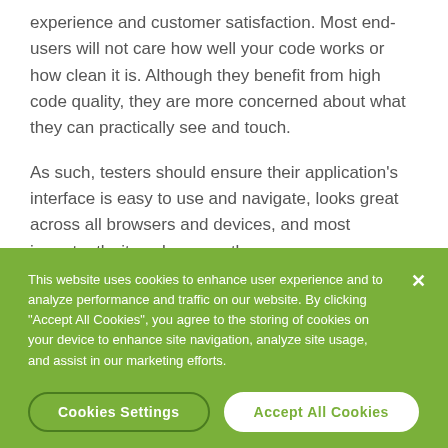experience and customer satisfaction. Most end-users will not care how well your code works or how clean it is. Although they benefit from high code quality, they are more concerned about what they can practically see and touch.
As such, testers should ensure their application's interface is easy to use and navigate, looks great across all browsers and devices, and most importantly, it works correctly.
This website uses cookies to enhance user experience and to analyze performance and traffic on our website. By clicking "Accept All Cookies", you agree to the storing of cookies on your device to enhance site navigation, analyze site usage, and assist in our marketing efforts.